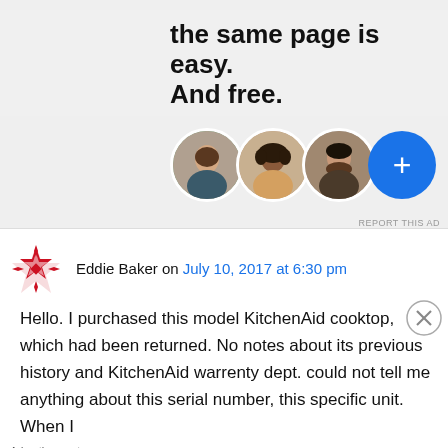[Figure (infographic): Advertisement banner showing text 'the same page is easy. And free.' with three circular avatar photos and a blue plus button circle, on a light grey background. Small 'REPORT THIS AD' text bottom right.]
Eddie Baker on July 10, 2017 at 6:30 pm
Hello. I purchased this model KitchenAid cooktop, which had been returned. No notes about its previous history and KitchenAid warrenty dept. could not tell me anything about this serial number, this specific unit. When I
Advertisements
[Figure (infographic): Macy's advertisement banner with red background showing 'KISS BORING LIPS GOODBYE' in white bold text on left, a woman's face with red lipstick in center, and 'SHOP NOW' in a white outlined box with Macy's star logo on right.]